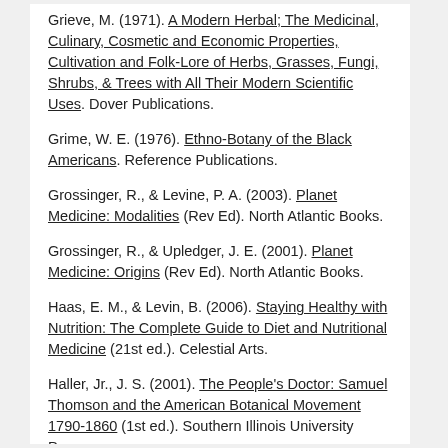Grieve, M. (1971). A Modern Herbal; The Medicinal, Culinary, Cosmetic and Economic Properties, Cultivation and Folk-Lore of Herbs, Grasses, Fungi, Shrubs, & Trees with All Their Modern Scientific Uses. Dover Publications.
Grime, W. E. (1976). Ethno-Botany of the Black Americans. Reference Publications.
Grossinger, R., & Levine, P. A. (2003). Planet Medicine: Modalities (Rev Ed). North Atlantic Books.
Grossinger, R., & Upledger, J. E. (2001). Planet Medicine: Origins (Rev Ed). North Atlantic Books.
Haas, E. M., & Levin, B. (2006). Staying Healthy with Nutrition: The Complete Guide to Diet and Nutritional Medicine (21st ed.). Celestial Arts.
Haller, Jr., J. S. (2001). The People's Doctor: Samuel Thomson and the American Botanical Movement 1790-1860 (1st ed.). Southern Illinois University Press.